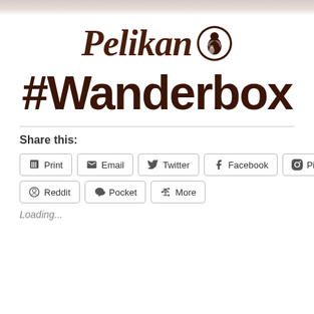[Figure (photo): Partial photo strip at the top of the page, showing a cropped image in muted pink/beige tones]
[Figure (logo): Pelikan brand logo with italic serif text 'Pelikan' and a circular emblem depicting a pelican bird]
#Wanderbox
Share this:
Print  Email  Twitter  Facebook  Pinterest  Reddit  Pocket  More
Loading...